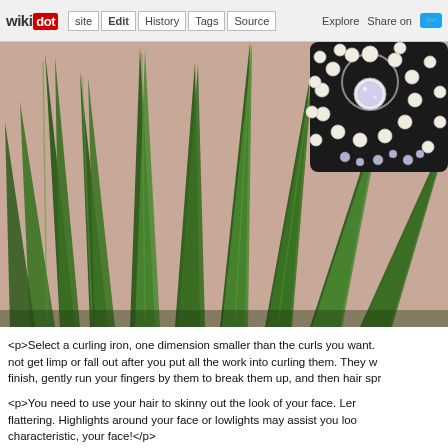wikidot | site | Edit | History | Tags | Source | Explore | Share on Twitter
[Figure (photo): Close-up photo of green aloe vera or agave plant leaves with pointy tips, and a black jeweled brooch with pearls and crystals in the upper right corner, on a pink/beige background.]
<p>Select a curling iron, one dimension smaller than the curls you want. not get limp or fall out after you put all the work into curling them. They w finish, gently run your fingers by them to break them up, and then hair spr
<p>You need to use your hair to skinny out the look of your face. Ler flattering. Highlights around your face or lowlights may assist you loo characteristic, your face!</p>
<p>Use a brow gel to stimulate growth in sparse eye brows. Whether you little bit in sparse areas with the tip to encourage growth. It'll help you d